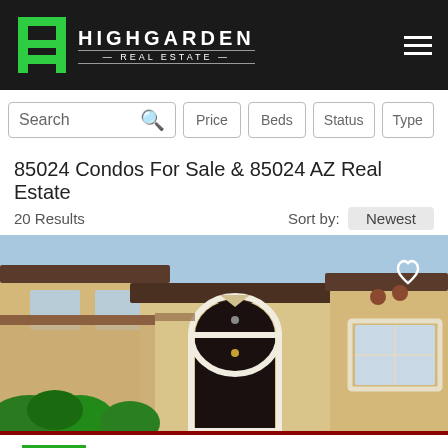HIGHGARDEN REAL ESTATE
Search | Price | Beds | Status | Type
85024 Condos For Sale & 85024 AZ Real Estate
20 Results   Sort by: Newest
[Figure (photo): Exterior photo of a tan stucco Spanish-style condo with arched entry, dark door, tile roof, and windows with white trim. Lush green bushes in front. Heart/favorite icon in top right corner.]
Call to Schedule a Showing
(480) 613-9411